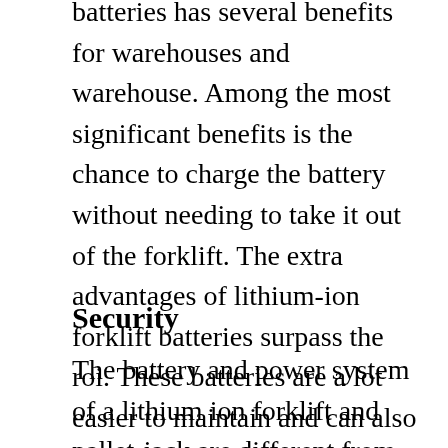batteries has several benefits for warehouses and warehouse. Among the most significant benefits is the chance to charge the battery without needing to take it out of the forklift. The extra advantages of lithium-ion forklift batteries surpass the roi. These batteries are a lot easier to maintain and can also be charged at home without removing the forklift.
Security
The battery and power system of a lithium ion forklift and pallet-jack are different from the lifting parts and operate separately.